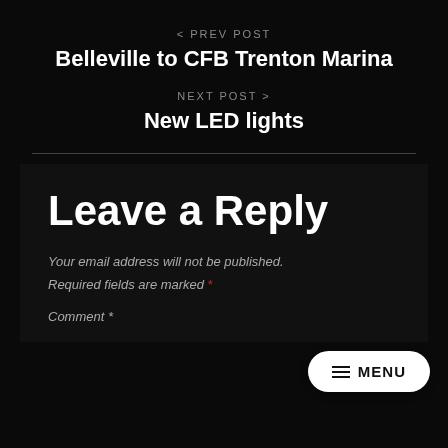< PREV POST
Belleville to CFB Trenton Marina
NEXT POST >
New LED lights
Leave a Reply
Your email address will not be published.
Required fields are marked *
Comment *